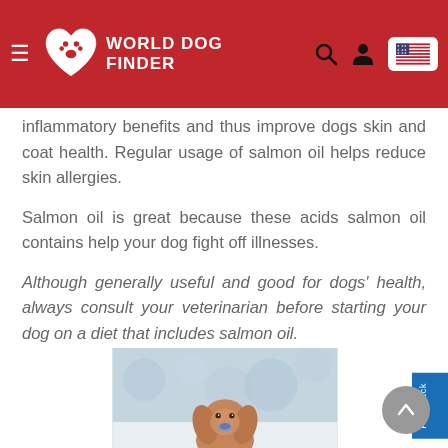World Dog Finder
inflammatory benefits and thus improve dogs skin and coat health. Regular usage of salmon oil helps reduce skin allergies.
Salmon oil is great because these acids salmon oil contains help your dog fight off illnesses.
Although generally useful and good for dogs' health, always consult your veterinarian before starting your dog on a diet that includes salmon oil.
[Figure (photo): A fluffy golden/red cocker spaniel dog sitting in snow with a blurred wintry background]